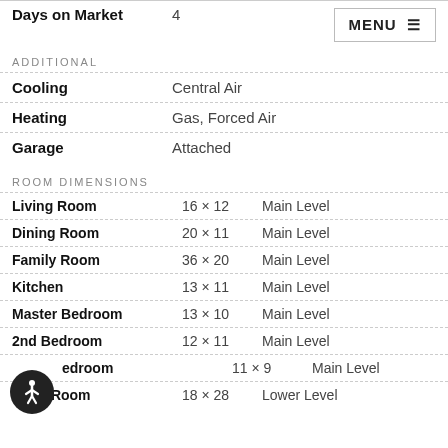| Property | Value |
| --- | --- |
| Days on Market | 4 |
| Cooling | Central Air |
| Heating | Gas, Forced Air |
| Garage | Attached |
ADDITIONAL
ROOM DIMENSIONS
| Room | Dimensions | Level |
| --- | --- | --- |
| Living Room | 16 × 12 | Main Level |
| Dining Room | 20 × 11 | Main Level |
| Family Room | 36 × 20 | Main Level |
| Kitchen | 13 × 11 | Main Level |
| Master Bedroom | 13 × 10 | Main Level |
| 2nd Bedroom | 12 × 11 | Main Level |
| 3rd Bedroom | 11 × 9 | Main Level |
| Extra Room | 18 × 28 | Lower Level |